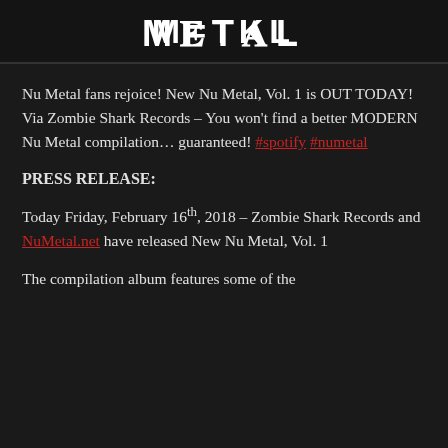[Figure (logo): Dark banner with stylized 'METAL' text in white block letters on a dark textured background]
Nu Metal fans rejoice! New Nu Metal, Vol. 1 is OUT TODAY! Via Zombie Shark Records – You won't find a better MODERN Nu Metal compilation… guaranteed! #spotify #numetal
PRESS RELEASE:
Today Friday, February 16th, 2018 – Zombie Shark Records and NuMetal.net have released New Nu Metal, Vol. 1
The compilation album features some of the